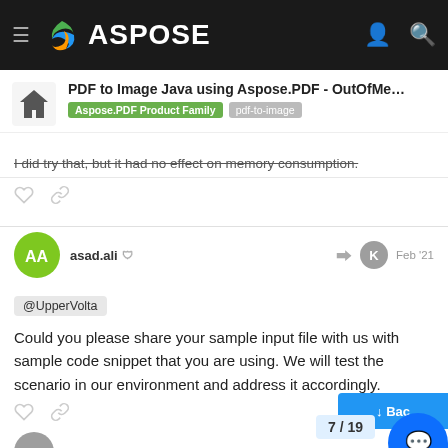ASPOSE
PDF to Image Java using Aspose.PDF - OutOfMe... | Aspose.PDF Product Family | pdf-to-image
I did try that, but it had no effect on memory consumption.
asad.ali  Feb '21
@UpperVolta
Could you please share your sample input file with us with sample code snippet that you are using. We will test the scenario in our environment and address it accordingly.
Kurt_Mehlhoff